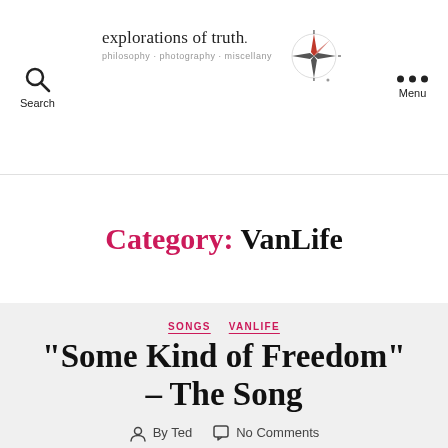explorations of truth. · philosophy · photography · miscellany
Category: VanLife
SONGS  VANLIFE
“Some Kind of Freedom” – The Song
By Ted  No Comments